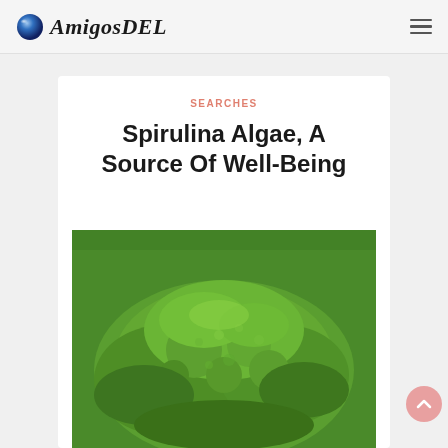AmigosDEL
SEARCHES
Spirulina Algae, A Source Of Well-Being
[Figure (photo): Close-up photograph of a mound of green spirulina algae powder]